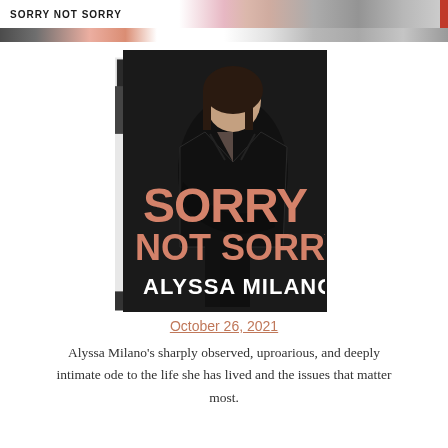SORRY NOT SORRY
[Figure (illustration): Book cover for 'Sorry Not Sorry' by Alyssa Milano. Shows a woman in a black leather jacket sitting against a dark background. Large salmon/pink text reads 'SORRY' and 'NOT SORRY', with white text 'ALYSSA MILANO' below.]
October 26, 2021
Alyssa Milano's sharply observed, uproarious, and deeply intimate ode to the life she has lived and the issues that matter most.